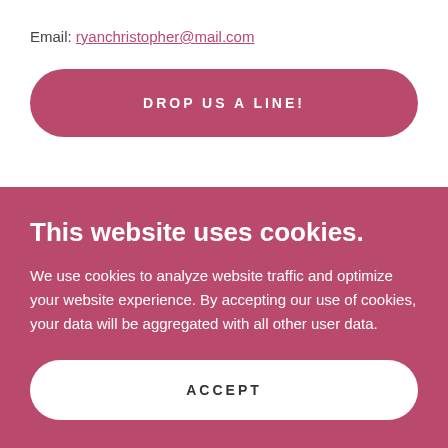Email: ryanchristopher@mail.com
DROP US A LINE!
This website uses cookies.
We use cookies to analyze website traffic and optimize your website experience. By accepting our use of cookies, your data will be aggregated with all other user data.
ACCEPT